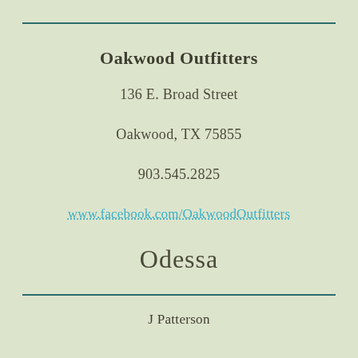Oakwood Outfitters
136 E. Broad Street
Oakwood, TX 75855
903.545.2825
www.facebook.com/OakwoodOutfitters
Odessa
J Patterson